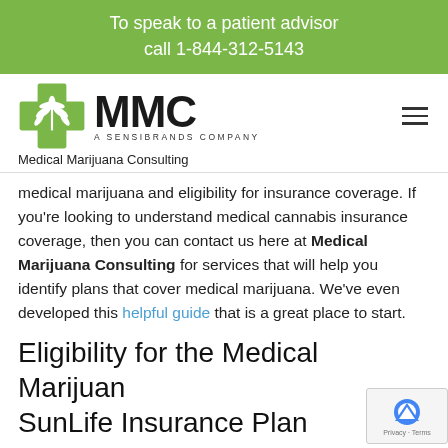To speak to a patient advisor call 1-844-312-5143
[Figure (logo): MMC Medical Marijuana Consulting logo with green cannabis leaf cross icon and text 'MMC A SENSIBRANDS COMPANY']
Medical Marijuana Consulting
medical marijuana and eligibility for insurance coverage. If you're looking to understand medical cannabis insurance coverage, then you can contact us here at Medical Marijuana Consulting for services that will help you identify plans that cover medical marijuana. We've even developed this helpful guide that is a great place to start.
Eligibility for the Medical Marijuana SunLife Insurance Plan